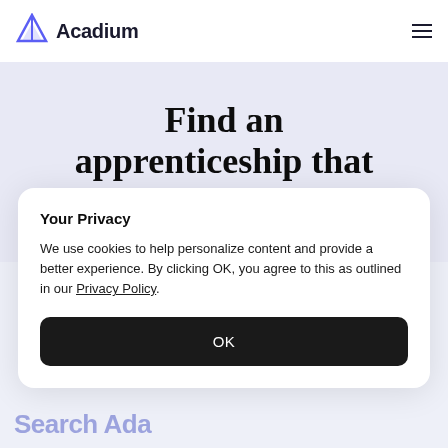Acadium
Find an apprenticeship that fits your goals
Your Privacy
We use cookies to help personalize content and provide a better experience. By clicking OK, you agree to this as outlined in our Privacy Policy.
OK
Search Ada